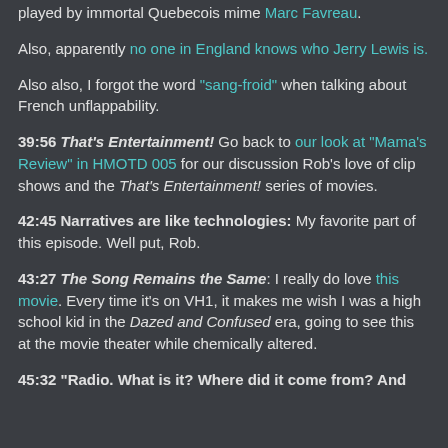played by immortal Quebecois mime Marc Favreau.
Also, apparently no one in England knows who Jerry Lewis is.
Also also, I forgot the word "sang-froid" when talking about French unflappability.
39:56 That's Entertainment! Go back to our look at "Mama's Review" in HMOTD 005 for our discussion Rob's love of clip shows and the That's Entertainment! series of movies.
42:45 Narratives are like technologies: My favorite part of this episode. Well put, Rob.
43:27 The Song Remains the Same: I really do love this movie. Every time it's on VH1, it makes me wish I was a high school kid in the Dazed and Confused era, going to see this at the movie theater while chemically altered.
45:32 "Radio. What is it? Where did it come from? And where is it going?" Gould knew the Big Credulity of...